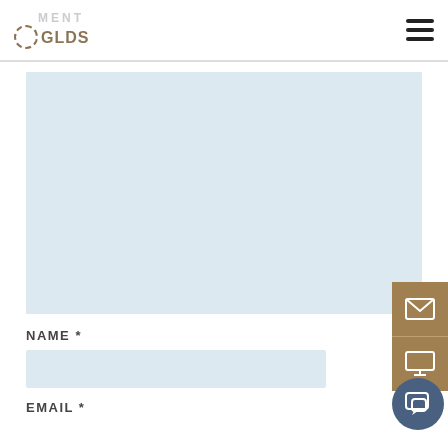GLDS MANAGEMENT
[Figure (map): Light blue rectangular map or content placeholder area]
NAME *
EMAIL *